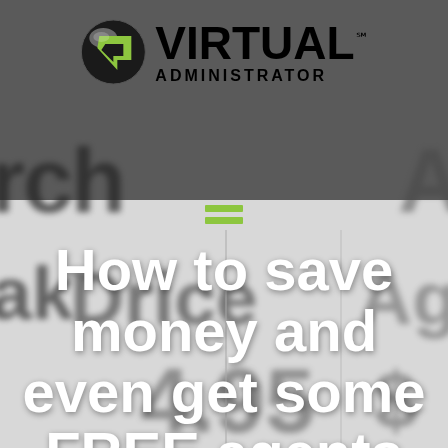[Figure (logo): Virtual Administrator logo with globe/arrow icon and bold 'VIRTUAL ADMINISTRATOR' text]
How to save money and even get some FREE agents